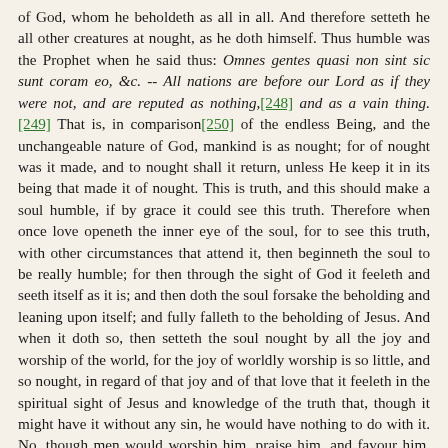of God, whom he beholdeth as all in all. And therefore setteth he all other creatures at nought, as he doth himself. Thus humble was the Prophet when he said thus: Omnes gentes quasi non sint sic sunt coram eo, &c. -- All nations are before our Lord as if they were not, and are reputed as nothing,[248] and as a vain thing. [249] That is, in comparison[250] of the endless Being, and the unchangeable nature of God, mankind is as nought; for of nought was it made, and to nought shall it return, unless He keep it in its being that made it of nought. This is truth, and this should make a soul humble, if by grace it could see this truth. Therefore when once love openeth the inner eye of the soul, for to see this truth, with other circumstances that attend it, then beginneth the soul to be really humble; for then through the sight of God it feeleth and seeth itself as it is; and then doth the soul forsake the beholding and leaning upon itself; and fully falleth to the beholding of Jesus. And when it doth so, then setteth the soul nought by all the joy and worship of the world, for the joy of worldly worship is so little, and so nought, in regard of that joy and of that love that it feeleth in the spiritual sight of Jesus and knowledge of the truth that, though it might have it without any sin, he would have nothing to do with it. No, though men would worship him, praise him, and favour him, or set him in great state, it would nothing at all please him. No, though he had great skill in all the seven liberal sciences, and of all skill under the sun, or had power to work all manner of miracles, yet would he take no more delight[251] in all this, nor no